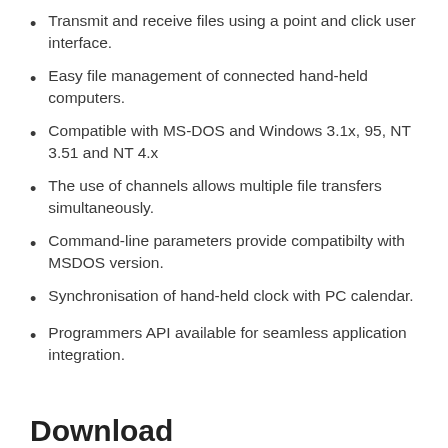Transmit and receive files using a point and click user interface.
Easy file management of connected hand-held computers.
Compatible with MS-DOS and Windows 3.1x, 95, NT 3.51 and NT 4.x
The use of channels allows multiple file transfers simultaneously.
Command-line parameters provide compatibilty with MSDOS version.
Synchronisation of hand-held clock with PC calendar.
Programmers API available for seamless application integration.
Download